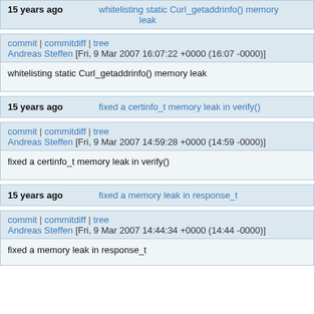15 years ago | whitelisting static Curl_getaddrinfo() memory leak
commit | commitdiff | tree
Andreas Steffen [Fri, 9 Mar 2007 16:07:22 +0000 (16:07 -0000)]
whitelisting static Curl_getaddrinfo() memory leak
15 years ago | fixed a certinfo_t memory leak in verify()
commit | commitdiff | tree
Andreas Steffen [Fri, 9 Mar 2007 14:59:28 +0000 (14:59 -0000)]
fixed a certinfo_t memory leak in verify()
15 years ago | fixed a memory leak in response_t
commit | commitdiff | tree
Andreas Steffen [Fri, 9 Mar 2007 14:44:34 +0000 (14:44 -0000)]
fixed a memory leak in response_t